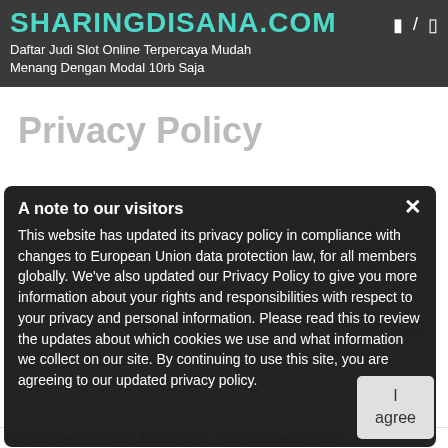SHARINGDISANA.COM
Daftar Judi Slot Online Terpercaya Mudah Menang Dengan Modal 10rb Saja
Privacy Policy
A note to our visitors
This website has updated its privacy policy in compliance with changes to European Union data protection law, for all members globally. We've also updated our Privacy Policy to give you more information about your rights and responsibilities with respect to your privacy and personal information. Please read this to review the updates about which cookies we use and what information we collect on our site. By continuing to use this site, you are agreeing to our updated privacy policy.
I agree
refers to any information that identifies or can be used to identify